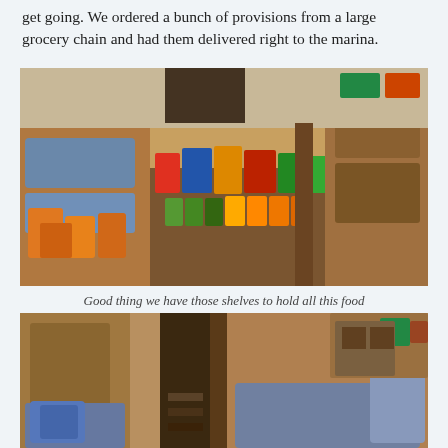get going. We ordered a bunch of provisions from a large grocery chain and had them delivered right to the marina.
[Figure (photo): Interior of a sailboat cabin with a large table covered in groceries and provisions — bags of chips, canned goods, packages of food — with wooden cabinetry and blue cushioned seating visible.]
Good thing we have those shelves to hold all this food
[Figure (photo): Interior of the same sailboat cabin after provisions have been stowed, showing blue cushioned seating, wooden cabinetry, and storage shelves with some items visible.]